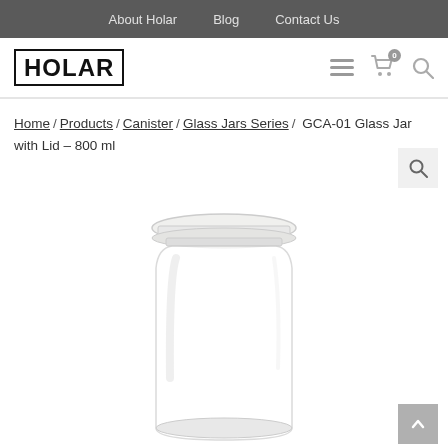About Holar | Blog | Contact Us
[Figure (logo): HOLAR logo in bold outlined box, with hamburger menu icon, cart icon with 0 badge, and search icon]
Home / Products / Canister / Glass Jars Series / GCA-01 Glass Jar with Lid – 800 ml
[Figure (photo): A clear glass jar with a transparent lid, GCA-01 Glass Jar with Lid 800 ml, shown on white background]